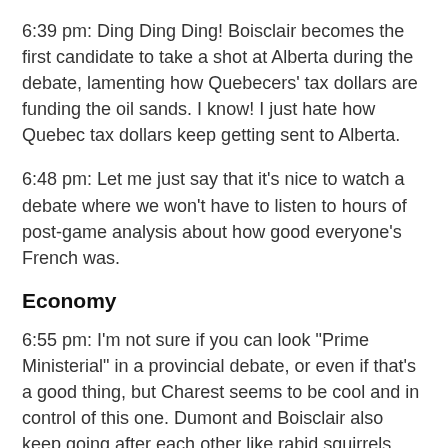6:39 pm: Ding Ding Ding! Boisclair becomes the first candidate to take a shot at Alberta during the debate, lamenting how Quebecers' tax dollars are funding the oil sands. I know! I just hate how Quebec tax dollars keep getting sent to Alberta.
6:48 pm: Let me just say that it's nice to watch a debate where we won't have to listen to hours of post-game analysis about how good everyone's French was.
Economy
6:55 pm: I'm not sure if you can look "Prime Ministerial" in a provincial debate, or even if that's a good thing, but Charest seems to be cool and in control of this one. Dumont and Boisclair also keep going after each other like rabid squirrels whenever they get the 1 on 1 debates against each other which, one imagines, also serves Charest well.
6:59 pm: Jack Layton Andre Boisclair complains about government money going to the banks and insurance